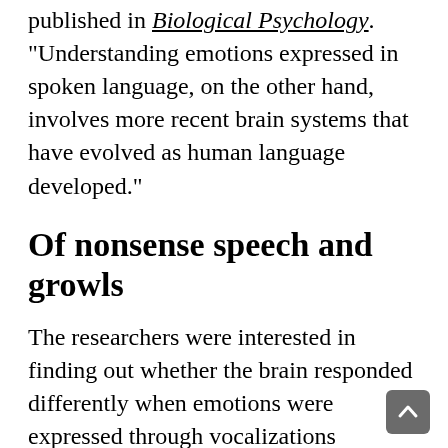published in Biological Psychology. "Understanding emotions expressed in spoken language, on the other hand, involves more recent brain systems that have evolved as human language developed."
Of nonsense speech and growls
The researchers were interested in finding out whether the brain responded differently when emotions were expressed through vocalizations